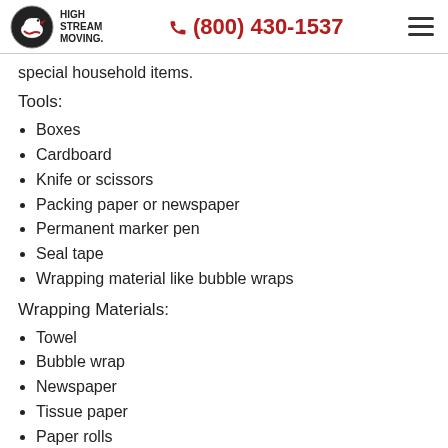High Stream Moving — (800) 430-1537
special household items.
Tools:
Boxes
Cardboard
Knife or scissors
Packing paper or newspaper
Permanent marker pen
Seal tape
Wrapping material like bubble wraps
Wrapping Materials:
Towel
Bubble wrap
Newspaper
Tissue paper
Paper rolls